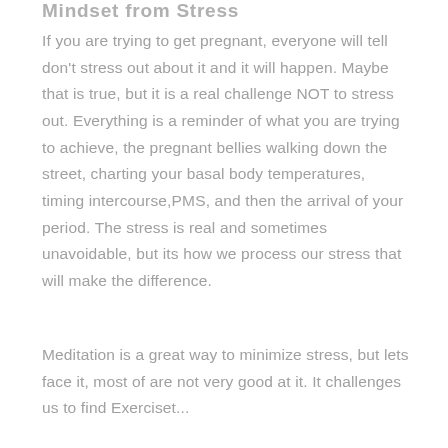Mindset from Stress
If you are trying to get pregnant, everyone will tell don't stress out about it and it will happen. Maybe that is true, but it is a real challenge NOT to stress out. Everything is a reminder of what you are trying to achieve, the pregnant bellies walking down the street, charting your basal body temperatures, timing intercourse,PMS, and then the arrival of your period. The stress is real and sometimes unavoidable, but its how we process our stress that will make the difference.
Meditation is a great way to minimize stress, but lets face it, most of are not very good at it. It challenges us to find Emotions...